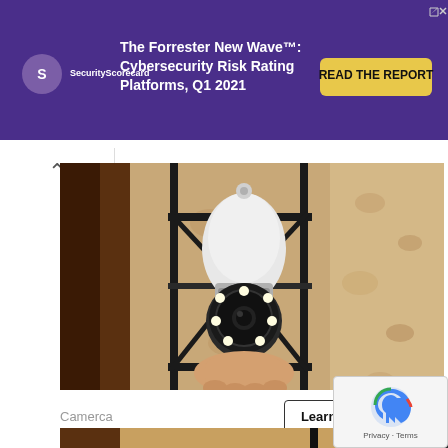[Figure (screenshot): SecurityScorecard banner advertisement for The Forrester New Wave: Cybersecurity Risk Rating Platforms, Q1 2021 with READ THE REPORT button on purple background]
[Figure (photo): Photo of a security camera shaped like a light bulb being installed into an outdoor wall lantern fixture on a textured stucco wall]
Homeowners Are Trading In Their Doorbell Cams For This
Camerca
[Figure (photo): Partial second photo of a similar outdoor wall lantern on a stucco wall, partially obscured by a reCAPTCHA badge]